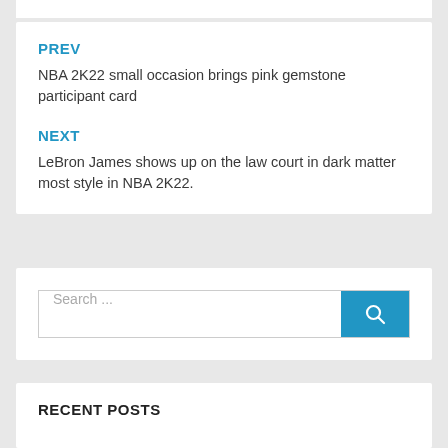PREV
NBA 2K22 small occasion brings pink gemstone participant card
NEXT
LeBron James shows up on the law court in dark matter most style in NBA 2K22.
Search ...
RECENT POSTS